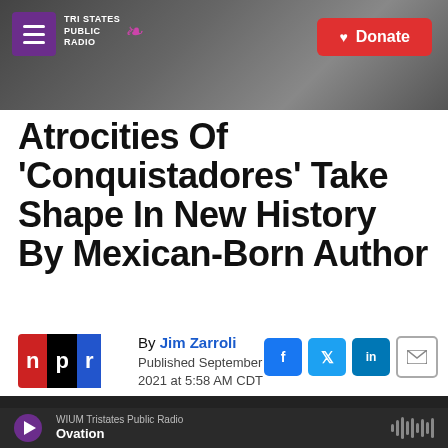[Figure (screenshot): Tri States Public Radio website header banner with dark sky background, purple hamburger menu button, logo, and red Donate button]
Atrocities Of 'Conquistadores' Take Shape In New History By Mexican-Born Author
By Jim Zarroli
Published September 15, 2021 at 5:58 AM CDT
[Figure (logo): NPR logo with red N, black P, blue R]
[Figure (infographic): Social share buttons: Facebook, Twitter, LinkedIn, Email]
WIUM Tristates Public Radio · Ovation